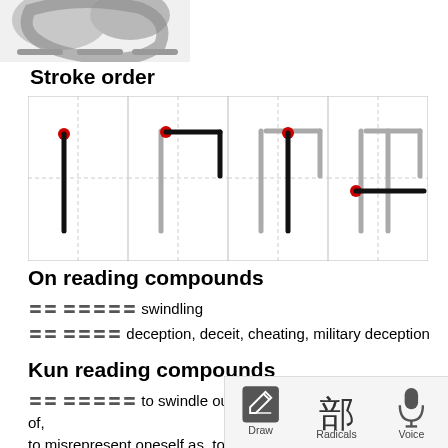[Figure (illustration): Partial gray-scale image of a large Japanese kanji character at top left, partially cropped]
Stroke order
[Figure (illustration): Stroke order diagram showing 4 steps of drawing a kanji character, each step in a grid cell with dashed guide lines and red dots marking stroke start points]
On reading compounds
〓〓 〓〓〓〓〓 swindling
〓〓 〓〓〓〓 deception, deceit, cheating, military deception
Kun reading compounds
〓〓 〓〓〓〓〓 to swindle out of, to cheat out of, to defraud of, to misrepresent oneself as, to pretend to be, to assume (a name or title), to falsify (e.g. a seal)
〓〓 〓〓〓〓〓 to trick, to cheat, to deceive, wheedle, to soothe and humor (hur...
[Figure (infographic): Bottom toolbar with Draw (pencil/edit icon), Radicals (kanji 部 icon), and Voice (microphone icon) buttons]